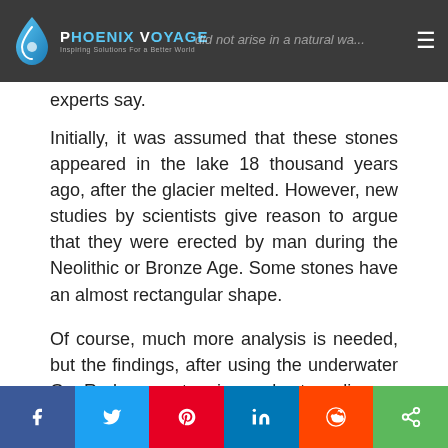Phoenix Voyage — Inspiring Solutions For a Better World
experts say.
Initially, it was assumed that these stones appeared in the lake 18 thousand years ago, after the glacier melted. However, new studies by scientists give reason to argue that they were erected by man during the Neolithic or Bronze Age. Some stones have an almost rectangular shape.
Of course, much more analysis is needed, but the findings, after using the underwater GeoRadar, are stunning and extraordinary.
According to archaeologists, studies have
Social share buttons: Facebook, Twitter, Pinterest, LinkedIn, Reddit, Share